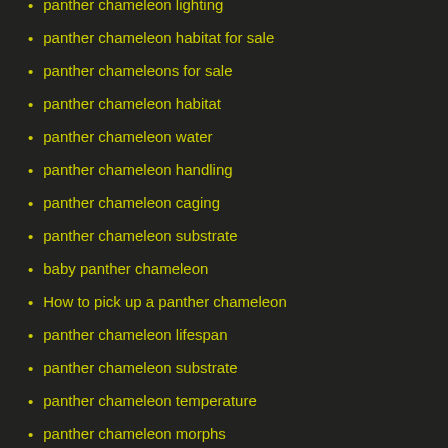panther chameleon lighting
panther chameleon habitat for sale
panther chameleons for sale
panther chameleon habitat
panther chameleon water
panther chameleon handling
panther chameleon caging
panther chameleon substrate
baby panther chameleon
How to pick up a panther chameleon
panther chameleon lifespan
panther chameleon substrate
panther chameleon temperature
panther chameleon morphs
panther chameleon pictures
chameleon
chameleon for sale